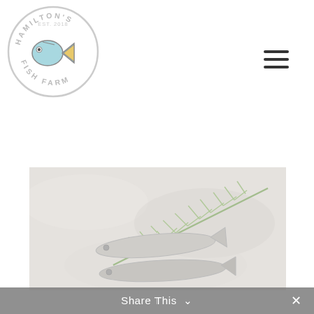[Figure (logo): Hamilton's Fish Farm circular logo, EST. 2018, with a cartoon fish illustration in light blue and yellow, gray circular border with text]
[Figure (other): Hamburger menu icon (three horizontal lines)]
[Figure (photo): Photo of raw fish with sprigs of rosemary on a light stone/granite surface]
Share This ∨  ✕